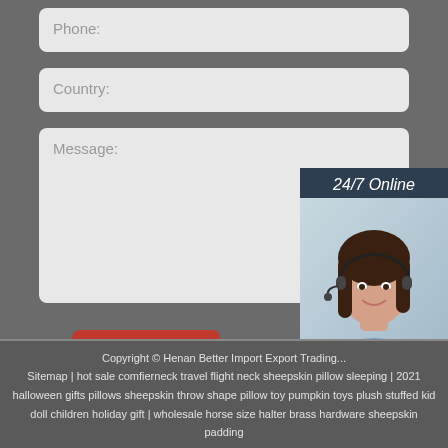Phone:
Country:
Message:
[Figure (illustration): 24/7 Online chat widget with photo of a woman wearing a headset, 'Click here for free chat!' text, and an orange QUOTATION button]
Submit Now
Copyright © Henan Better Import Export Trading... Sitemap | hot sale comfierneck travel flight neck sheepskin pillow sleeping | 2021 halloween gifts pillows sheepskin throw shape pillow toy pumpkin toys plush stuffed kid doll children holiday gift | wholesale horse size halter brass hardware sheepskin padding